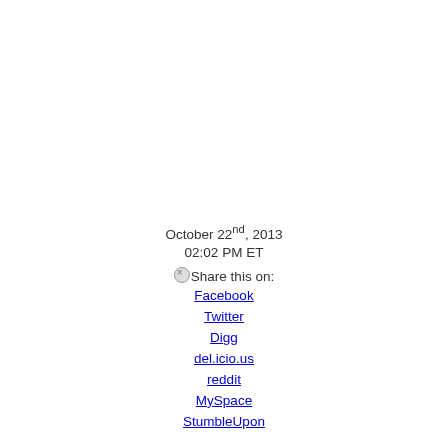October 22nd, 2013
02:02 PM ET
Share this on:
Facebook
Twitter
Digg
del.icio.us
reddit
MySpace
StumbleUpon
Rights groups challenge U.S.